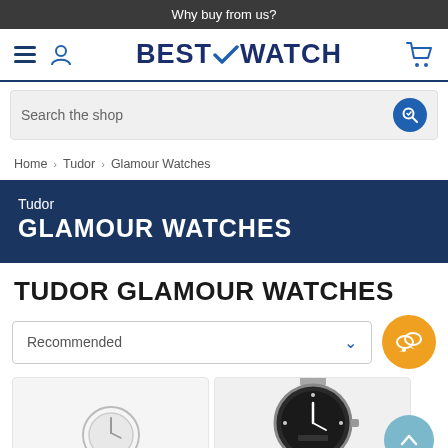Why buy from us?
[Figure (logo): BestWatch logo with hamburger menu, user icon, and cart icon]
[Figure (screenshot): Search bar with magnifying glass icon]
Home > Tudor > Glamour Watches
Tudor GLAMOUR WATCHES
TUDOR GLAMOUR WATCHES
Recommended
[Figure (photo): Two Tudor Glamour watch product images partially visible at bottom of page]